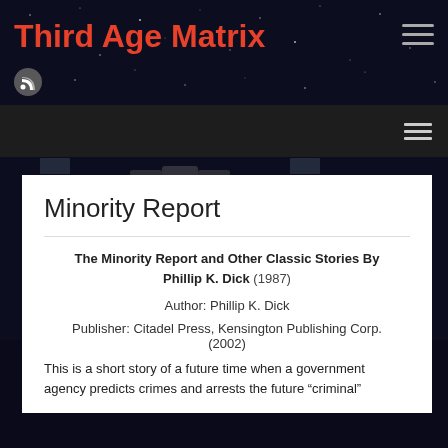Third Age Matrix
[Figure (screenshot): Dark space background with International Space Station, navigation bar with hamburger menu, RSS icon]
Minority Report
The Minority Report and Other Classic Stories By Phillip K. Dick (1987)
Author: Phillip K. Dick
Publisher: Citadel Press, Kensington Publishing Corp. (2002)
This is a short story of a future time when a government agency predicts crimes and arrests the future "criminal"